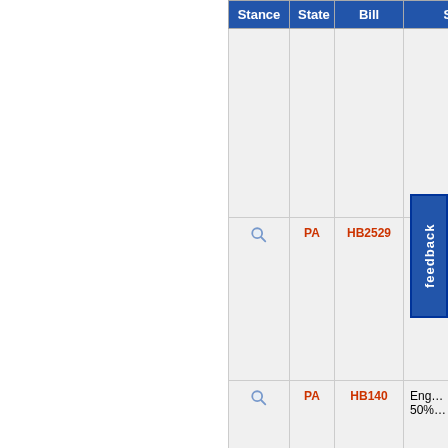| Stance | State | Bill | Sta… |
| --- | --- | --- | --- |
| [magnify] |  |  |  |
| [magnify] | PA | HB2529 | Intr… 25%… |
| [magnify] | PA | HB140 | Eng… 50%… |
| [magnify] | PA | HB2716 | 25%… |